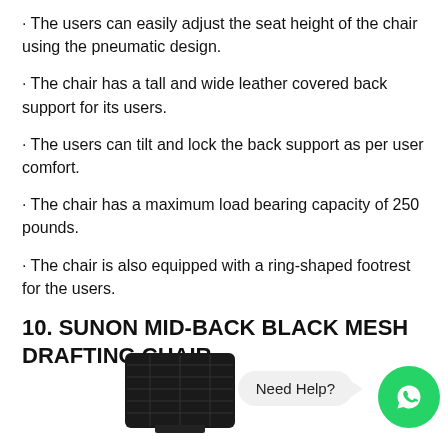· The users can easily adjust the seat height of the chair using the pneumatic design.
· The chair has a tall and wide leather covered back support for its users.
· The users can tilt and lock the back support as per user comfort.
· The chair has a maximum load bearing capacity of 250 pounds.
· The chair is also equipped with a ring-shaped footrest for the users.
10. SUNON MID-BACK BLACK MESH DRAFTING CHAIR
[Figure (photo): Bottom portion of a black mesh drafting chair, with a 'Need Help?' chat bubble and a green WhatsApp icon button in the bottom right corner.]